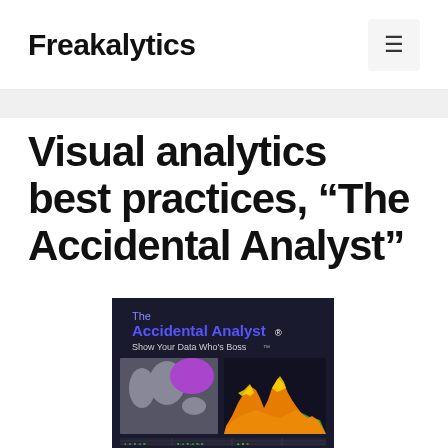Freakalytics
Visual analytics best practices, “The Accidental Analyst”
[Figure (screenshot): Book cover for 'The Accidental Analyst: Show Your Data Who's Boss' featuring a world map highlighted in purple and an area/mountain chart with orange, green, yellow, and blue peaks on a dark background, plus a data table snippet.]